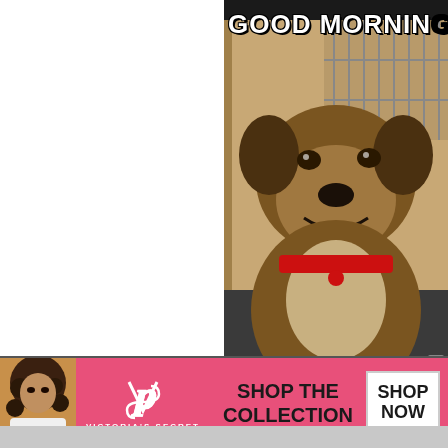[Figure (photo): Screenshot of a webpage showing a 'Good Morning' dog meme on the right half. The meme features a smiling dog wearing a red collar, sitting in front of a cage, with bold white text 'GOOD MORNING' at the top. The left half of the page content area is white/blank.]
infolinks
[Figure (screenshot): Victoria's Secret banner advertisement with pink background showing a model, the VS logo, text 'SHOP THE COLLECTION', and a white 'SHOP NOW' button.]